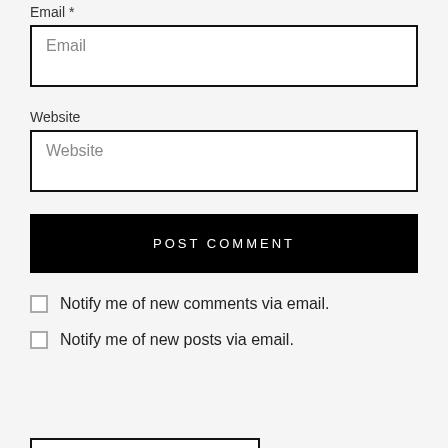Email *
Email
Website
Website
POST COMMENT
Notify me of new comments via email.
Notify me of new posts via email.